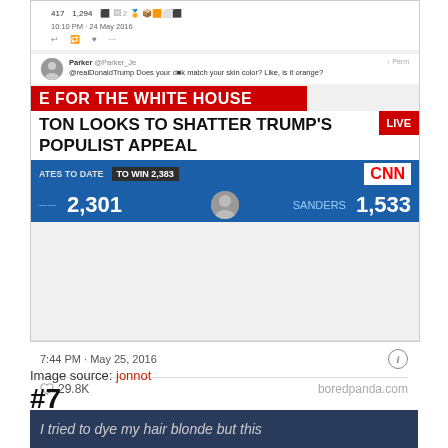[Figure (screenshot): Screenshot of a Twitter/social media post showing a CNN broadcast screenshot. The CNN screen shows headlines 'E FOR THE WHITE HOUSE', 'TON LOOKS TO SHATTER TRUMP'S POPULIST APPEAL', with delegate counts showing 2,301 and SANDERS 1,533. TO WIN 2,383. A tweet reply from Parker asks '@realDonaldTrump Does your d** match your skin color? Like, is it orange?'. Timestamp 7:44 PM · May 25, 2016 with 29.8K likes. boredpanda.com watermark.]
Image source: jonnot
#7
[Figure (screenshot): Bottom strip of next image showing text 'I tried to dye my hair blonde but this']